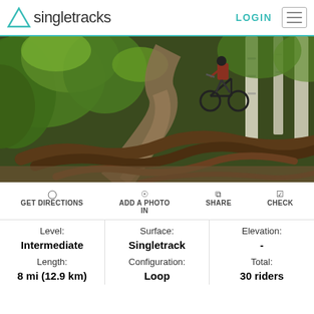Singletracks LOGIN
[Figure (photo): Mountain biker riding down a narrow forest singletrack trail with tree roots crossing the path, surrounded by green foliage and birch trees]
GET DIRECTIONS  ADD A PHOTO IN  SHARE  CHECK
| Level: | Surface: | Elevation: |
| --- | --- | --- |
| Intermediate | Singletrack | - |
| Length: | Configuration: | Total: |
| 8 mi (12.9 km) | Loop | 30 riders |